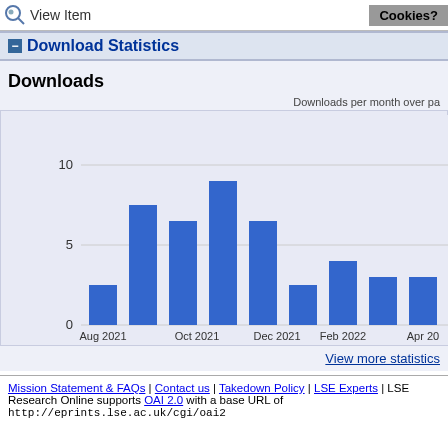View Item | Cookies?
— Download Statistics
Downloads
Downloads per month over pa…
[Figure (bar-chart): Downloads per month over past year]
View more statistics
Mission Statement & FAQs | Contact us | Takedown Policy | LSE Experts | LSE Research Online supports OAI 2.0 with a base URL of http://eprints.lse.ac.uk/cgi/oai2